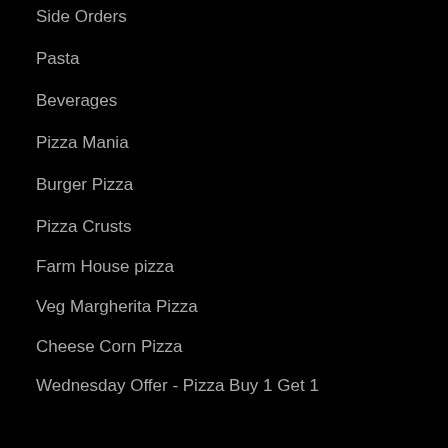Side Orders
Pasta
Beverages
Pizza Mania
Burger Pizza
Pizza Crusts
Farm House pizza
Veg Margherita Pizza
Cheese Corn Pizza
Wednesday Offer - Pizza Buy 1 Get 1
Double Cheese Margherita Pizza
Paneer Makhani Pizza
Choco Lava Cake
Roasted Chicken Wings Peri Peri
Garlic Bread
Extra Cheese Pizza
Golden Corn Pizza